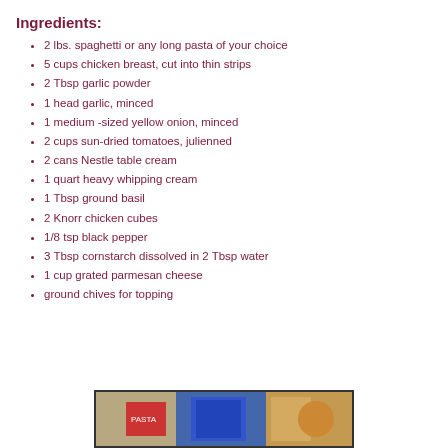Ingredients:
2 lbs. spaghetti or any long pasta of your choice
5 cups chicken breast, cut into thin strips
2 Tbsp garlic powder
1 head garlic, minced
1 medium -sized yellow onion, minced
2 cups sun-dried tomatoes, julienned
2 cans Nestle table cream
1 quart heavy whipping cream
1 Tbsp ground basil
2 Knorr chicken cubes
1/8 tsp black pepper
3 Tbsp cornstarch dissolved in 2 Tbsp water
1 cup grated parmesan cheese
ground chives for topping
[Figure (photo): Photo of recipe ingredients including pasta and other items]